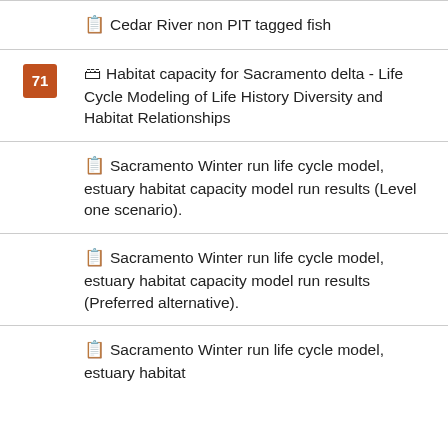📋 Cedar River non PIT tagged fish
71 🗃 Habitat capacity for Sacramento delta - Life Cycle Modeling of Life History Diversity and Habitat Relationships
📋 Sacramento Winter run life cycle model, estuary habitat capacity model run results (Level one scenario).
📋 Sacramento Winter run life cycle model, estuary habitat capacity model run results (Preferred alternative).
📋 Sacramento Winter run life cycle model, estuary habitat